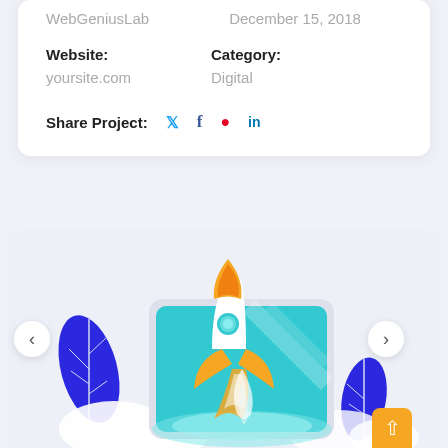WebGeniusLab    December 15, 2018
Website:
yoursite.com
Category:
Digital
Share Project:  (Twitter) (Facebook) (Pinterest) (LinkedIn)
[Figure (illustration): Illustration of a rocket launching from a tablet device with blue/teal screen, surrounded by blue stylized plants/leaves, on a light blue-grey background. Navigation arrows on left and right, orange up button bottom right.]